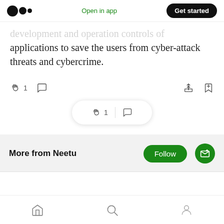Medium logo | Open in app | Get started
development and operation controls of applications to save the users from cyber-attack threats and cybercrime.
[Figure (screenshot): Article action bar with clap icon showing 1 clap, comment icon, share icon, and bookmark icon]
[Figure (screenshot): Floating pill showing clap icon with 1 and comment icon]
More from Neetu
[Figure (screenshot): Follow and subscribe buttons in green]
Home | Search | Profile navigation icons